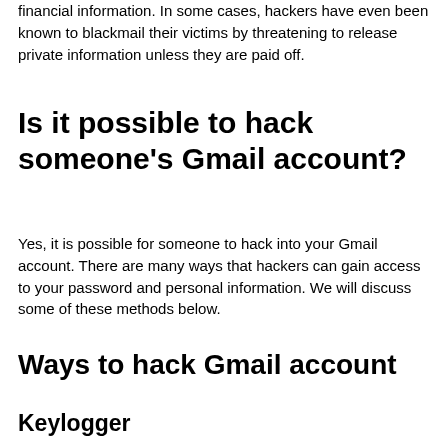financial information. In some cases, hackers have even been known to blackmail their victims by threatening to release private information unless they are paid off.
Is it possible to hack someone’s Gmail account?
Yes, it is possible for someone to hack into your Gmail account. There are many ways that hackers can gain access to your password and personal information. We will discuss some of these methods below.
Ways to hack Gmail account
Keylogger